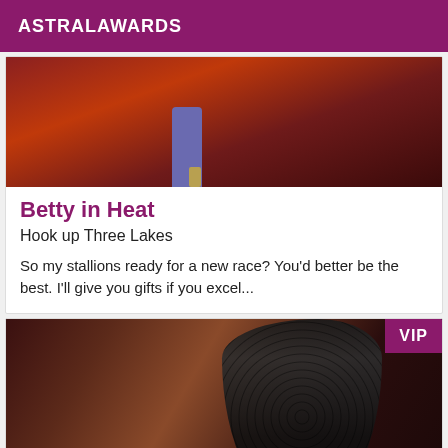ASTRALAWARDS
[Figure (photo): Top portion of a photo showing legs and feet on a reddish-brown floor/carpet]
Betty in Heat
Hook up Three Lakes
So my stallions ready for a new race? You'd better be the best. I'll give you gifts if you excel...
[Figure (photo): Photo showing black lace lingerie against a brown/tan background with a VIP badge in the top right corner]